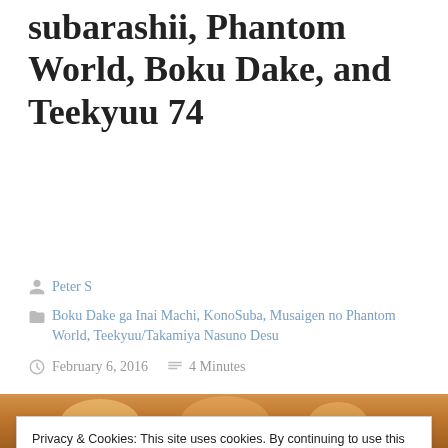subarashii, Phantom World, Boku Dake, and Teekyuu 74
Peter S
Boku Dake ga Inai Machi, KonoSuba, Musaigen no Phantom World, Teekyuu/Takamiya Nasuno Desu
February 6, 2016   4 Minutes
Continuing my desperate catch-up …
Privacy & Cookies: This site uses cookies. By continuing to use this website, you agree to their use.
To find out more, including how to control cookies, see here: Cookie Policy
[Figure (photo): Bottom strip showing a partial anime scene with warm orange and golden tones]